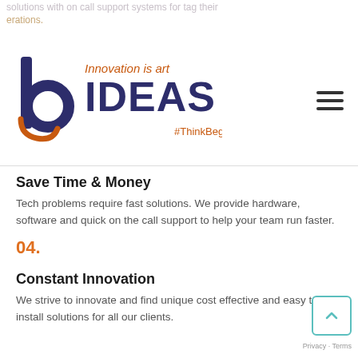solutions with on call support systems for tag their operations.
[Figure (logo): IDEAS logo with tagline 'Innovation is art' and '#ThinkBegin', featuring stylized letter b with orange curve]
Save Time & Money
Tech problems require fast solutions. We provide hardware, software and quick on the call support to help your team run faster.
04.
Constant Innovation
We strive to innovate and find unique cost effective and easy to install solutions for all our clients.